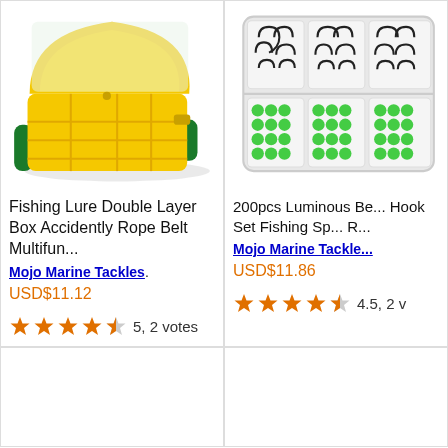[Figure (photo): Yellow double-layer fishing lure tackle box with green rope belt handles, open showing compartments]
Fishing Lure Double Layer Box Accidently Rope Belt Multifun...
Mojo Marine Tackles.
USD$11.12
5, 2 votes
[Figure (photo): Transparent plastic fishing tackle box with black hooks and green luminous beads organized in compartments]
200pcs Luminous Be... Hook Set Fishing Sp... R...
Mojo Marine Tackle...
USD$11.86
4.5, 2 v...
[Figure (photo): Bottom left card, empty/partially visible]
[Figure (photo): Bottom right card, empty/partially visible]